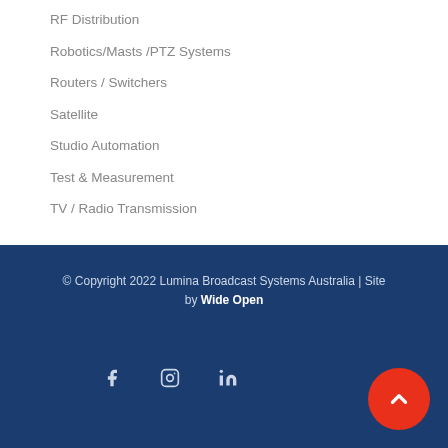RF Distribution
Robotics/Masts /PTZ Systems
Routers / Switchers
Satellite
Studio Automation
Test & Measurement
TV / Radio Transmission
© Copyright 2022 Lumina Broadcast Systems Australia | Site by Wide Open
[Figure (infographic): Social media icons: Facebook, Instagram, LinkedIn, and a red scroll-to-top button with upward chevron]